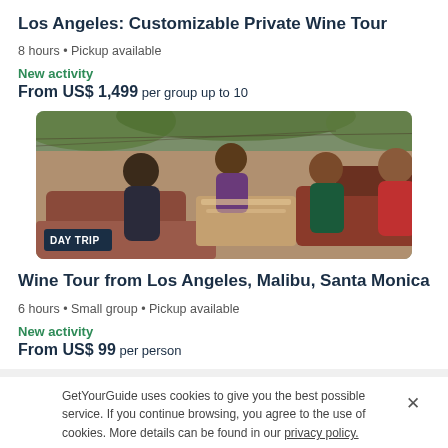Los Angeles: Customizable Private Wine Tour
8 hours • Pickup available
New activity
From US$ 1,499 per group up to 10
[Figure (photo): Group of women sitting outdoors on patio furniture at a winery, smiling and relaxing among vineyard greenery. DAY TRIP badge in bottom left corner, heart icon in top right corner.]
Wine Tour from Los Angeles, Malibu, Santa Monica
6 hours • Small group • Pickup available
New activity
From US$ 99 per person
GetYourGuide uses cookies to give you the best possible service. If you continue browsing, you agree to the use of cookies. More details can be found in our privacy policy.